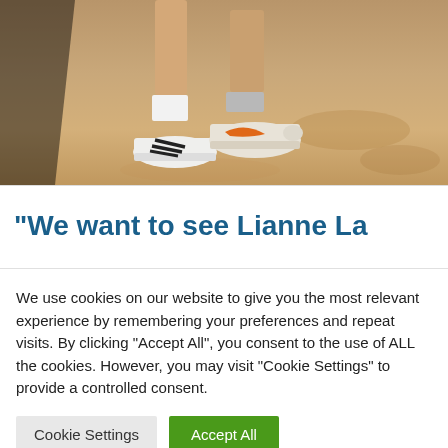[Figure (photo): Photo showing the lower legs and feet of two people wearing sneakers (Adidas and Nike) standing on sandy ground, with a shadow visible on the left side of the image.]
"We want to see Lianne La
We use cookies on our website to give you the most relevant experience by remembering your preferences and repeat visits. By clicking "Accept All", you consent to the use of ALL the cookies. However, you may visit "Cookie Settings" to provide a controlled consent.